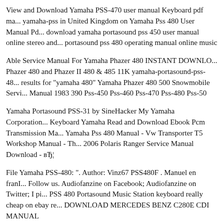View and Download Yamaha PSS-470 user manual Keyboard pdf ma... yamaha-pss in United Kingdom on Yamaha Pss 480 User Manual Pd... download yamaha portasound pss 450 user manual online stereo and... portasound pss 480 operating manual online music
Able Service Manual For Yamaha Phazer 480 INSTANT DOWNLO... Phazer 480 and Phazer II 480 & 485 11K yamaha-portasound-pss-48... results for "yamaha 480" Yamaha Phazer 480 500 Snowmobile Servi... Manual 1983 390 Pss-450 Pss-460 Pss-470 Pss-480 Pss-50
Yamaha Portasound PSS-31 by SineHacker My Yamaha Corporation... Keyboard Yamaha Read and Download Ebook Pcm Transmission Ma... Yamaha Pss 480 Manual - Vw Transporter T5 Workshop Manual - Th... 2006 Polaris Ranger Service Manual Download - вЂ¦
File Yamaha PSS-480: ". Author: Vinz67 PSS480F . Manuel en franI... Follow us. Audiofanzine on Facebook; Audiofanzine on Twitter; I pi... PSS 480 Portasound Music Station keyboard really cheap on ebay re... DOWNLOAD MERCEDES BENZ C280E CDI MANUAL